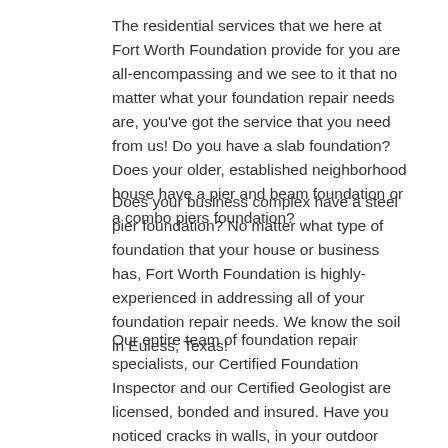The residential services that we here at Fort Worth Foundation provide for you are all-encompassing and we see to it that no matter what your foundation repair needs are, you've got the service that you need from us! Do you have a slab foundation? Does your older, established neighborhood house have a pier and beam foundation or a combo piers foundation?
Does your business complex have a steel pier foundation? No matter what type of foundation that your house or business has, Fort Worth Foundation is highly-experienced in addressing all of your foundation repair needs. We know the soil in Euless, Texas!
Our entire team of foundation repair specialists, our Certified Foundation Inspector and our Certified Geologist are licensed, bonded and insured. Have you noticed cracks in walls, in your outdoor brickwork, on your ceiling or around windows and doors? Are there areas on your outdoor grounds where water stands